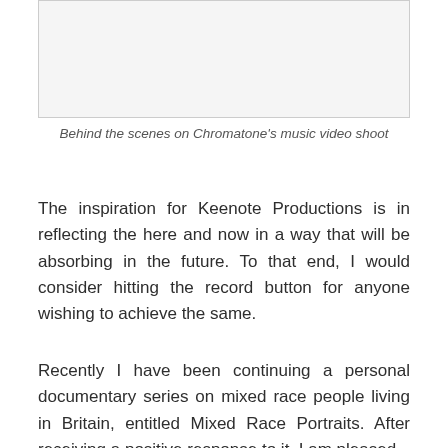[Figure (photo): A photo placeholder box representing behind the scenes on Chromatone's music video shoot]
Behind the scenes on Chromatone's music video shoot
The inspiration for Keenote Productions is in reflecting the here and now in a way that will be absorbing in the future. To that end, I would consider hitting the record button for anyone wishing to achieve the same.
Recently I have been continuing a personal documentary series on mixed race people living in Britain, entitled Mixed Race Portraits. After receiving a positive response to it, I am pleased